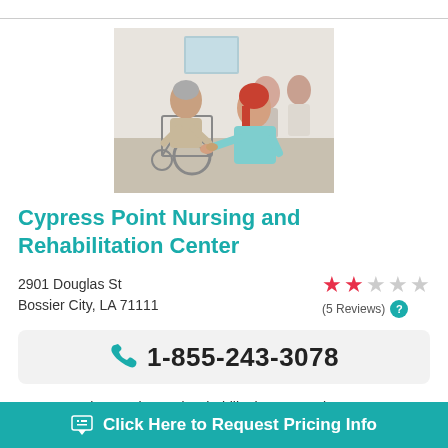[Figure (photo): Healthcare worker holding hands with elderly woman in wheelchair; two other elderly people in background]
Cypress Point Nursing and Rehabilitation Center
2901 Douglas St
Bossier City, LA 71111
[Figure (infographic): 2 out of 5 stars rating with (5 Reviews) label and question mark circle]
1-855-243-3078
Cypress Point Nursing and Rehabilitation Center is a 124 b... n B...
Click Here to Request Pricing Info